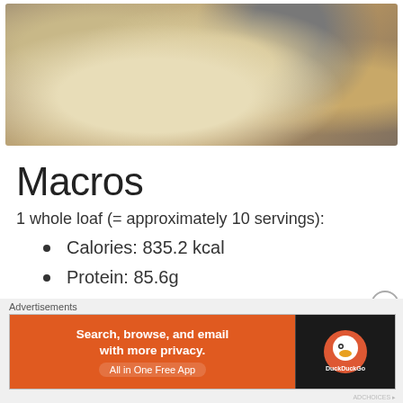[Figure (photo): Photo of sliced bread on a dark plate on a granite countertop, top-down view]
Macros
1 whole loaf (= approximately 10 servings):
Calories: 835.2 kcal
Protein: 85.6g
Advertisements
[Figure (screenshot): DuckDuckGo advertisement banner: 'Search, browse, and email with more privacy. All in One Free App' with DuckDuckGo logo on dark background]